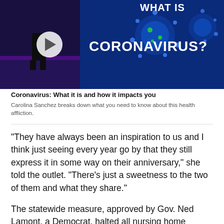[Figure (screenshot): Video thumbnail showing a TV news segment about coronavirus. Text reads 'CORONAVIRUS?' in large white bold letters on a blue background with coronavirus imagery. A presenter stands on the left. A play button is visible.]
Coronavirus: What it is and how it impacts you
Carolina Sanchez breaks down what you need to know about this health affliction.
"They have always been an inspiration to us and I think just seeing every year go by that they still express it in some way on their anniversary," she told the outlet. "There's just a sweetness to the two of them and what they share."
The statewide measure, approved by Gov. Ned Lamont, a Democrat, halted all nursing home visitations in the